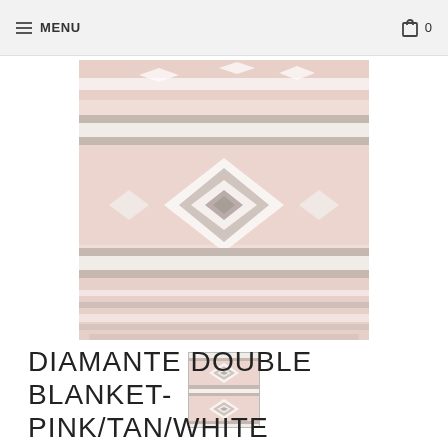≡ MENU   🛒 0
[Figure (photo): A pink, white, and tan/grey woven blanket with Aztec/geometric diamond pattern and horizontal stripe detailing, displayed folded or draped.]
[Figure (photo): Thumbnail image of the same pink/tan/white Diamante double blanket showing geometric diamond pattern.]
DIAMANTE DOUBLE BLANKET- PINK/TAN/WHITE